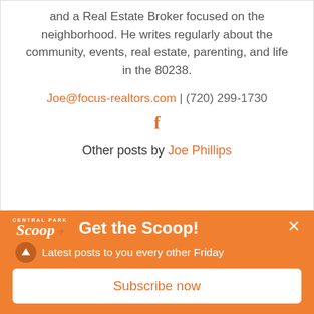and a Real Estate Broker focused on the neighborhood. He writes regularly about the community, events, real estate, parenting, and life in the 80238.
Joe@focus-realtors.com | (720) 299-1730
[Figure (illustration): Facebook icon (letter f) in orange]
Other posts by Joe Phillips
Central Park Scoop logo
Get the Scoop!
Latest posts to you every other Friday
Subscribe now